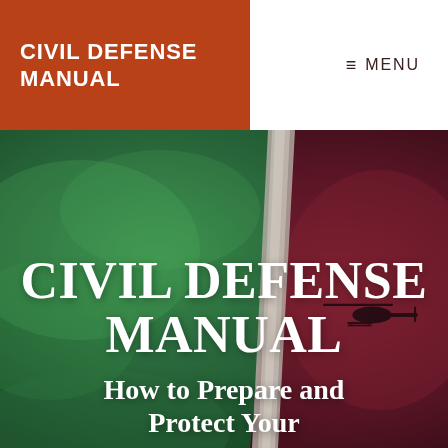CIVIL DEFENSE MANUAL
≡ MENU
[Figure (illustration): Hero background image showing a torn paper effect splitting a green smoky scene on the left and a dark red/maroon scene with a military helicopter silhouette on the right]
CIVIL DEFENSE MANUAL
How to Prepare and Protect Your